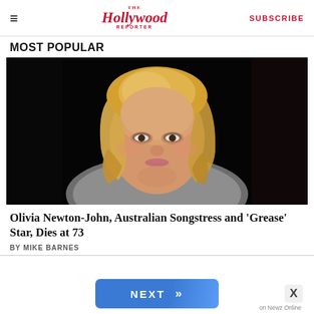The Hollywood Reporter | SUBSCRIBE
MOST POPULAR
[Figure (photo): Portrait photo of Olivia Newton-John, a blonde woman smiling, wearing a grey blazer, against a dark/black background]
Olivia Newton-John, Australian Songstress and 'Grease' Star, Dies at 73
BY MIKE BARNES